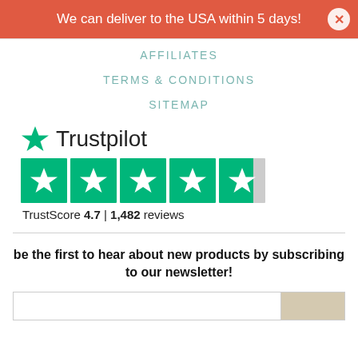We can deliver to the USA within 5 days!
AFFILIATES
TERMS & CONDITIONS
SITEMAP
[Figure (logo): Trustpilot logo with green star and word Trustpilot, followed by 4.5 green star rating boxes, TrustScore 4.7 | 1,482 reviews]
be the first to hear about new products by subscribing to our newsletter!